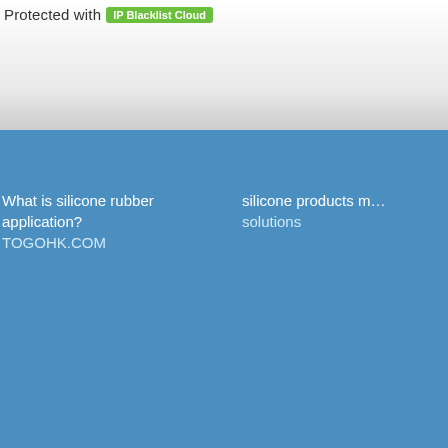Protected with IP Blacklist Cloud
What is silicone rubber application? TOGOHK.COM
silicone products m... solutions